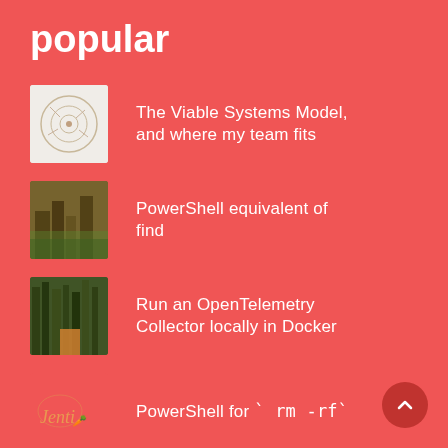popular
The Viable Systems Model, and where my team fits
PowerShell equivalent of find
Run an OpenTelemetry Collector locally in Docker
PowerShell for `rm -rf`
Git Rebase inside IntelliJ IDEA